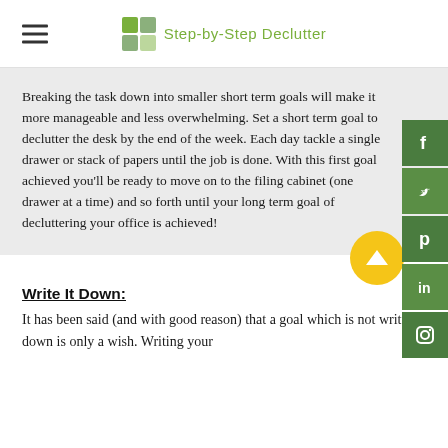Step-by-Step Declutter
Breaking the task down into smaller short term goals will make it more manageable and less overwhelming. Set a short term goal to declutter the desk by the end of the week. Each day tackle a single drawer or stack of papers until the job is done. With this first goal achieved you'll be ready to move on to the filing cabinet (one drawer at a time) and so forth until your long term goal of decluttering your office is achieved!
Write It Down:
It has been said (and with good reason) that a goal which is not written down is only a wish. Writing your